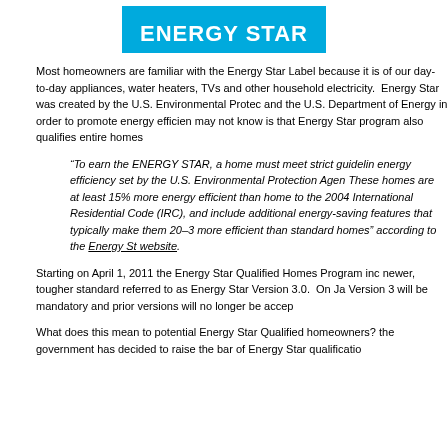[Figure (logo): ENERGY STAR logo — blue rectangle with white bold text reading ENERGY STAR]
Most homeowners are familiar with the Energy Star Label because it is of our day-to-day appliances, water heaters, TVs and other household electricity.  Energy Star was created by the U.S. Environmental Protec and the U.S. Department of Energy in order to promote energy efficien may not know is that Energy Star program also qualifies entire homes
“To earn the ENERGY STAR, a home must meet strict guidelin energy efficiency set by the U.S. Environmental Protection Agen These homes are at least 15% more energy efficient than home to the 2004 International Residential Code (IRC), and include additional energy-saving features that typically make them 20–3 more efficient than standard homes” according to the Energy St website.
Starting on April 1, 2011 the Energy Star Qualified Homes Program inc newer, tougher standard referred to as Energy Star Version 3.0.  On Ja Version 3 will be mandatory and prior versions will no longer be accep
What does this mean to potential Energy Star Qualified homeowners? the government has decided to raise the bar of Energy Star qualificatio